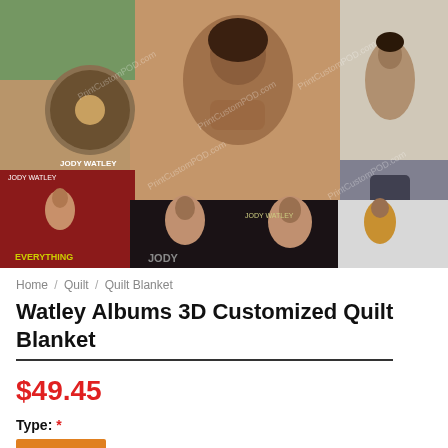[Figure (photo): Product photo of a Jody Watley Albums 3D Customized Quilt Blanket displayed outdoors, showing a collage of album covers featuring Jody Watley. The blanket includes images labeled 'Jody Watley', 'Everything', and other album artwork.]
Home / Quilt / Quilt Blanket
Watley Albums 3D Customized Quilt Blanket
$49.45
Type: *